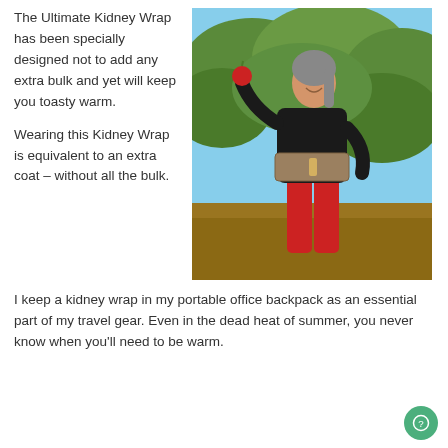The Ultimate Kidney Wrap has been specially designed not to add any extra bulk and yet will keep you toasty warm.
[Figure (photo): A woman wearing a kidney wrap belt over a black long-sleeve shirt and red pants, holding a red apple, standing in front of leafy green bushes outdoors.]
Wearing this Kidney Wrap is equivalent to an extra coat – without all the bulk.
I keep a kidney wrap in my portable office backpack as an essential part of my travel gear. Even in the dead heat of summer, you never know when you'll need to be warm.